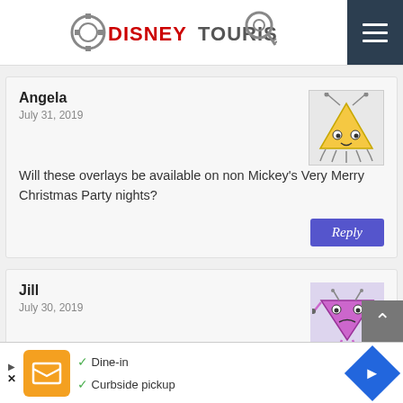DISNEYTOURISTBLOG
Angela
July 31, 2019
Will these overlays be available on non Mickey's Very Merry Christmas Party nights?
Jill
July 30, 2019
Reynolds donated their display to Conner Prairie so it will be no more. At least no more for free. 😄 I live abo...
Dine-in
Curbside pickup